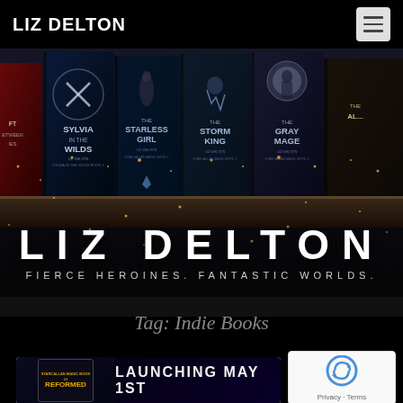LIZ DELTON
[Figure (photo): Hero banner showing multiple fantasy book covers by Liz Delton on a wooden shelf: Sylvia in the Wilds, The Starless Girl, The Storm King, The Gray Mage, and others, with sparkle/magic particle effects]
LIZ DELTON
FIERCE HEROINES. FANTASTIC WORLDS.
Tag: Indie Books
[Figure (photo): Bottom card showing a tablet device with book cover and text 'LAUNCHING MAY 1ST']
[Figure (other): reCAPTCHA privacy widget with Privacy and Terms links]